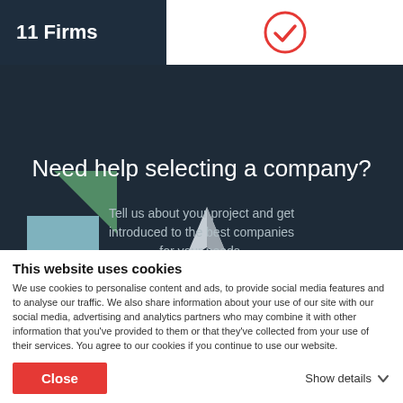11 Firms
[Figure (logo): Red circular checkmark icon]
Need help selecting a company?
Tell us about your project and get introduced to the best companies for your needs.
[Figure (illustration): Paper airplane and five red stars rating illustration with geometric logo shapes]
This website uses cookies
We use cookies to personalise content and ads, to provide social media features and to analyse our traffic. We also share information about your use of our site with our social media, advertising and analytics partners who may combine it with other information that you've provided to them or that they've collected from your use of their services. You agree to our cookies if you continue to use our website.
Close
Show details